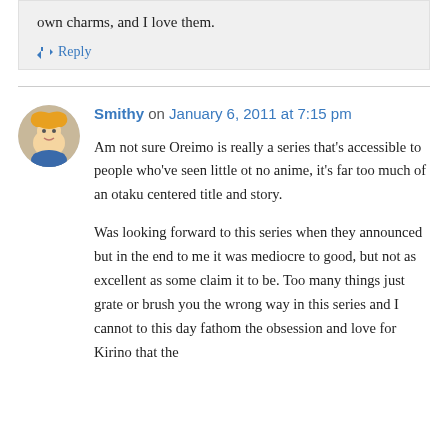own charms, and I love them.
↳ Reply
Smithy on January 6, 2011 at 7:15 pm
Am not sure Oreimo is really a series that's accessible to people who've seen little ot no anime, it's far too much of an otaku centered title and story.

Was looking forward to this series when they announced but in the end to me it was mediocre to good, but not as excellent as some claim it to be. Too many things just grate or brush you the wrong way in this series and I cannot to this day fathom the obsession and love for Kirino that the